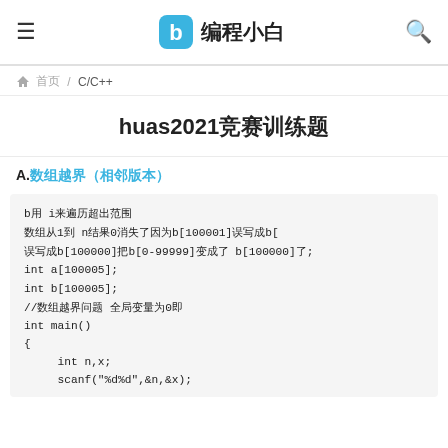编程小白
首页 / C/C++
huas2021竞赛训练题
A.数组越界（相邻版本）
b数组用 i来遍历超出范围
数组从1到 n结果0消失了因为b[100001]误写成b[
误写成b[100000]把b[0-99999]变成了 b[100000]了；
int a[100005];
int b[100005];
//数组越界问题 全局变量为0即
int main()
{
    int n,x;
    scanf("%d%d",&n,&x);